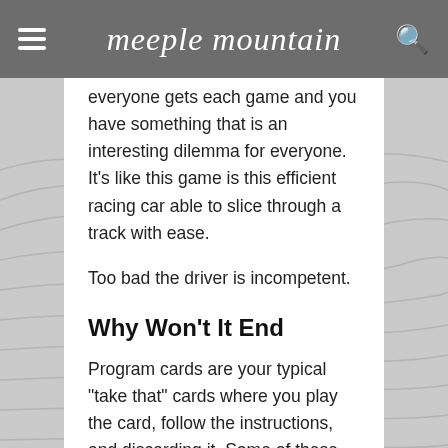meeple mountain
everyone gets each game and you have something that is an interesting dilemma for everyone. It’s like this game is this efficient racing car able to slice through a track with ease.
Too bad the driver is incompetent.
Why Won’t It End
Program cards are your typical “take that” cards where you play the card, follow the instructions, and discarding it. Some of these cards are permanent upgrades, meaning they stay on the field but count